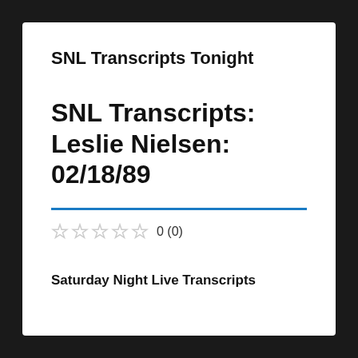SNL Transcripts Tonight
SNL Transcripts: Leslie Nielsen: 02/18/89
0 (0)
Saturday Night Live Transcripts